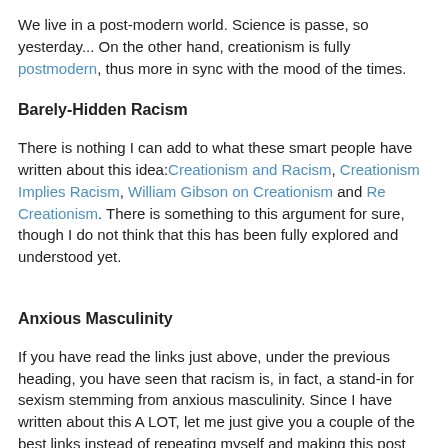We live in a post-modern world. Science is passe, so yesterday... On the other hand, creationism is fully postmodern, thus more in sync with the mood of the times.
Barely-Hidden Racism
There is nothing I can add to what these smart people have written about this idea:Creationism and Racism, Creationism Implies Racism, William Gibson on Creationism and Re Creationism. There is something to this argument for sure, though I do not think that this has been fully explored and understood yet.
Anxious Masculinity
If you have read the links just above, under the previous heading, you have seen that racism is, in fact, a stand-in for sexism stemming from anxious masculinity. Since I have written about this A LOT, let me just give you a couple of the best links instead of repeating myself and making this post even more ridiculously long: